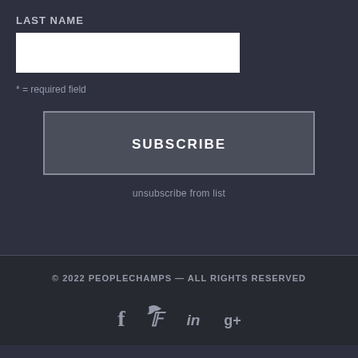LAST NAME
* = required field
SUBSCRIBE
unsubscribe from list
© 2022 PEOPLECHAMPS — ALL RIGHTS RESERVED
[Figure (other): Social media icons: Facebook (f), Twitter (bird), LinkedIn (in), Google+ (g+)]